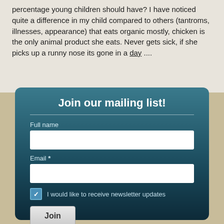percentage young children should have? I have noticed quite a difference in my child compared to others (tantroms, illnesses, appearance) that eats organic mostly, chicken is the only animal product she eats. Never gets sick, if she picks up a runny nose its gone in a day ....
Join our mailing list!
Full name
Email *
I would like to receive newsletter updates